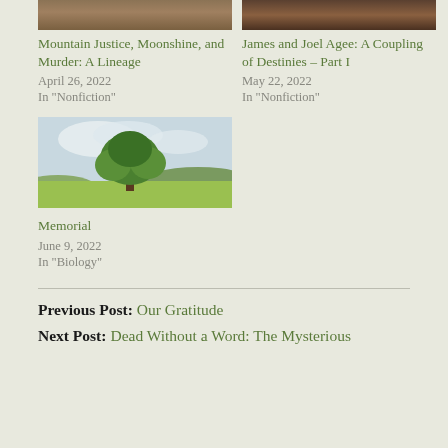[Figure (photo): Photo related to Mountain Justice, Moonshine, and Murder article]
Mountain Justice, Moonshine, and Murder: A Lineage
April 26, 2022
In "Nonfiction"
[Figure (photo): Photo related to James and Joel Agee article]
James and Joel Agee: A Coupling of Destinies – Part I
May 22, 2022
In "Nonfiction"
[Figure (photo): Photo of a large green tree in an open field under cloudy sky]
Memorial
June 9, 2022
In "Biology"
Previous Post: Our Gratitude
Next Post: Dead Without a Word: The Mysterious